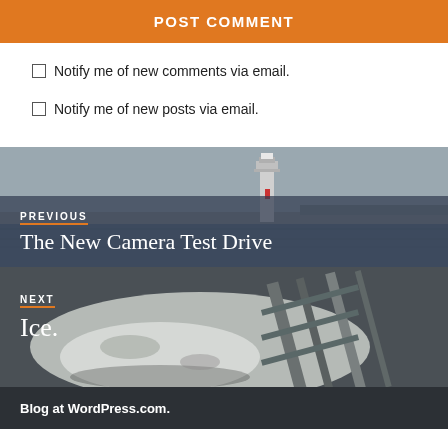POST COMMENT
Notify me of new comments via email.
Notify me of new posts via email.
[Figure (photo): Lighthouse on a waterway with grey sky and distant shoreline, used as background for previous post navigation block]
PREVIOUS
The New Camera Test Drive
[Figure (photo): Close-up of icy metal structure or railing in winter, used as background for next post navigation block]
NEXT
Ice.
Blog at WordPress.com.